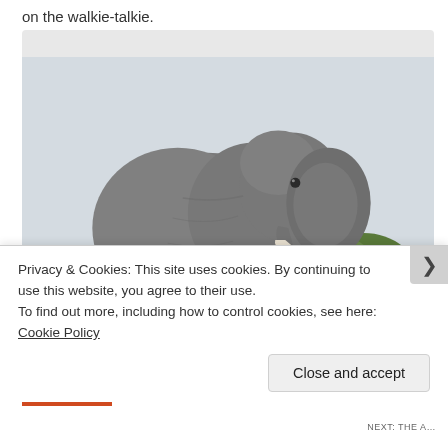on the walkie-talkie.
[Figure (photo): Large African elephant photographed from behind/side, walking through dry savanna with bushes and dry grass in the background. Light overcast sky.]
Privacy & Cookies: This site uses cookies. By continuing to use this website, you agree to their use.
To find out more, including how to control cookies, see here: Cookie Policy
Close and accept